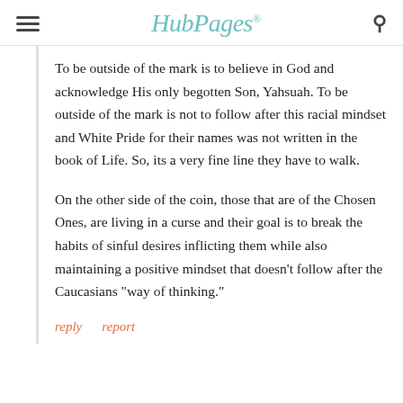HubPages
To be outside of the mark is to believe in God and acknowledge His only begotten Son, Yahsuah. To be outside of the mark is not to follow after this racial mindset and White Pride for their names was not written in the book of Life. So, its a very fine line they have to walk.
On the other side of the coin, those that are of the Chosen Ones, are living in a curse and their goal is to break the habits of sinful desires inflicting them while also maintaining a positive mindset that doesn't follow after the Caucasians "way of thinking."
reply   report